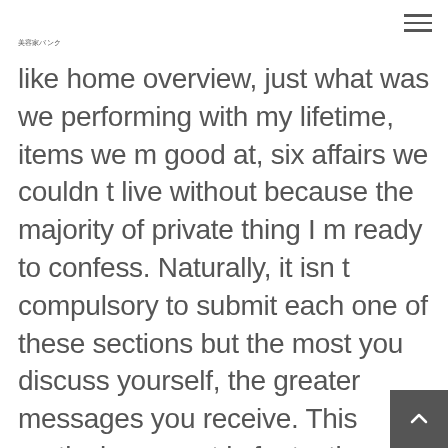美容家バンク
like home overview, just what was we performing with my lifetime, items we m good at, six affairs we couldn t live without because the majority of private thing I m ready to confess. Naturally, it isn t compulsory to submit each one of these sections but the most you discuss yourself, the greater messages you receive. This particular aspect is fantastic because I found myself able to work out who i possibly could already have anything in accordance with and I also got some very nice talks with folks I me